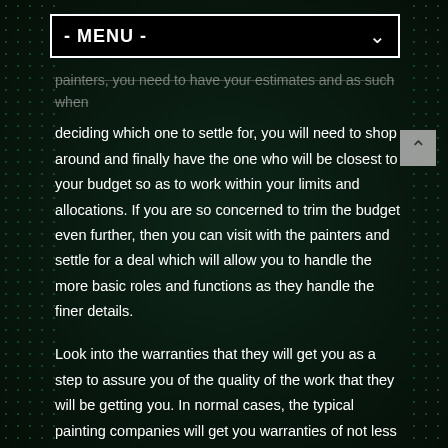- MENU -
painters, you need to have your estimates and as such when deciding which one to settle for, you will need to shop around and finally have the one who will be closest to your budget so as to work within your limits and allocations. If you are so concerned to trim the budget even further, then you can visit with the painters and settle for a deal which will allow you to handle the more basic roles and functions as they handle the finer details.
Look into the warranties that they will get you as a step to assure you of the quality of the work that they will be getting you. In normal cases, the typical painting companies will get you warranties of not less than seven years. Ensure that you quite well understand the terms of the warranty.
The other advantage of the professional painters doing your painting job is the fact that with them you will have them insured or bonded, and as such you as the homeowner, will be